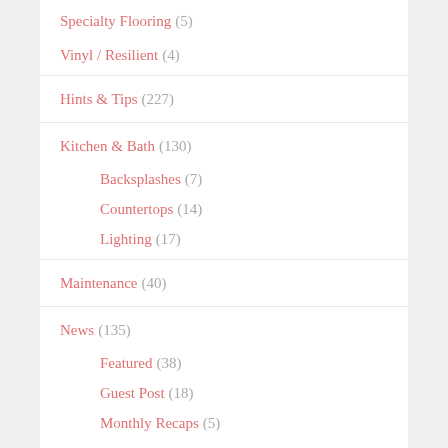Specialty Flooring (5)
Vinyl / Resilient (4)
Hints & Tips (227)
Kitchen & Bath (130)
Backsplashes (7)
Countertops (14)
Lighting (17)
Maintenance (40)
News (135)
Featured (38)
Guest Post (18)
Monthly Recaps (5)
Promotions (2)
Q & A (26)